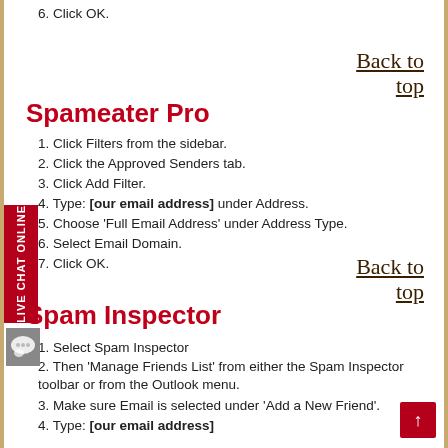6. Click OK.
Spameater Pro
Back to top
1. Click Filters from the sidebar.
2. Click the Approved Senders tab.
3. Click Add Filter.
4. Type: [our email address] under Address.
5. Choose 'Full Email Address' under Address Type.
6. Select Email Domain.
7. Click OK.
Back to top
Spam Inspector
1. Select Spam Inspector
2. Then 'Manage Friends List' from either the Spam Inspector toolbar or from the Outlook menu.
3. Make sure Email is selected under 'Add a New Friend'.
4. Type: [our email address]
5. Click the >> button.
6. Click Close.